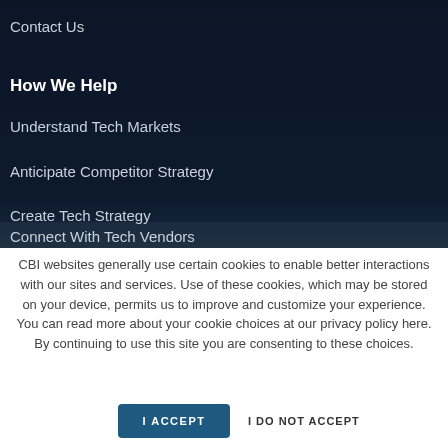Contact Us
How We Help
Understand Tech Markets
Anticipate Competitor Strategy
Create Tech Strategy
Connect With Tech Vendors
CBI websites generally use certain cookies to enable better interactions with our sites and services. Use of these cookies, which may be stored on your device, permits us to improve and customize your experience. You can read more about your cookie choices at our privacy policy here. By continuing to use this site you are consenting to these choices.
I ACCEPT
I DO NOT ACCEPT